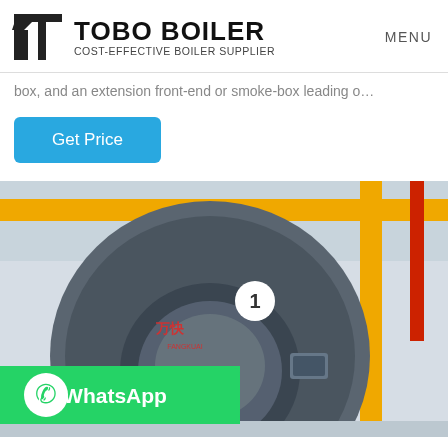TOBO BOILER — COST-EFFECTIVE BOILER SUPPLIER | MENU
box, and an extension front-end or smoke-box leading o…
Get Price
[Figure (photo): Industrial boiler unit with a large circular front face labeled '1' and Chinese characters '万快', with yellow and red piping visible in a factory setting. A WhatsApp contact badge appears in the lower-left of the image.]